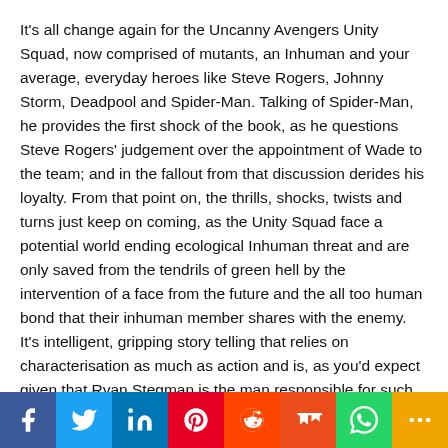It's all change again for the Uncanny Avengers Unity Squad, now comprised of mutants, an Inhuman and your average, everyday heroes like Steve Rogers, Johnny Storm, Deadpool and Spider-Man. Talking of Spider-Man, he provides the first shock of the book, as he questions Steve Rogers' judgement over the appointment of Wade to the team; and in the fallout from that discussion derides his loyalty. From that point on, the thrills, shocks, twists and turns just keep on coming, as the Unity Squad face a potential world ending ecological Inhuman threat and are only saved from the tendrils of green hell by the intervention of a face from the future and the all too human bond that their inhuman member shares with the enemy. It's intelligent, gripping story telling that relies on characterisation as much as action and is, as you'd expect given that Ryan Stegman is the man responsible for such things, visually stunning.  But that's not all folks, as the book's not over until the Red Skull sings, and the tune he's whistling along to in the last third of the book is "Make Rogers Suffer Like He's Never Suffered Before", a song that has our